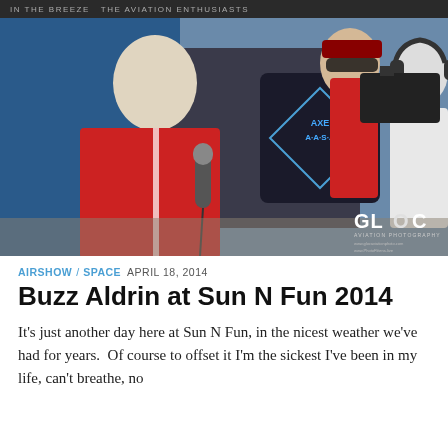IN THE BREEZE THE AVIATION ENTHUSIASTS
[Figure (photo): Buzz Aldrin wearing red jacket being interviewed with a microphone, two other people present including a camera operator, AXSA A·A·S·A logo visible in background, GLOC Aviation Photography watermark in bottom right]
AIRSHOW / SPACE  APRIL 18, 2014
Buzz Aldrin at Sun N Fun 2014
It's just another day here at Sun N Fun, in the nicest weather we've had for years.  Of course to offset it I'm the sickest I've been in my life, can't breathe, no